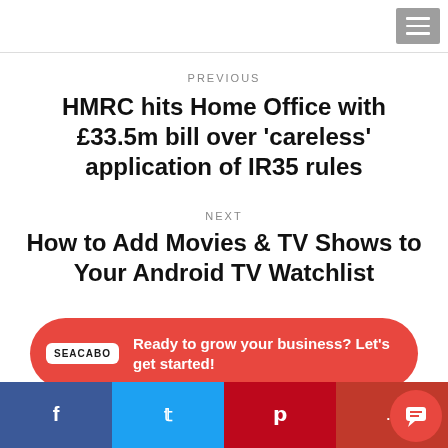PREVIOUS
HMRC hits Home Office with £33.5m bill over 'careless' application of IR35 rules
NEXT
How to Add Movies & TV Shows to Your Android TV Watchlist
[Figure (infographic): Red rounded banner ad: SEACABO logo on left, text 'Ready to grow your business? Let's get started!' on right]
Related Posts
Facebook | Twitter | Pinterest | More share buttons